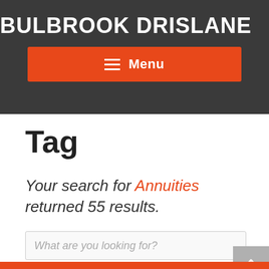BULBROOK DRISLANE
Menu
Tag
Your search for Annuities returned 55 results.
What are you looking for?
Search